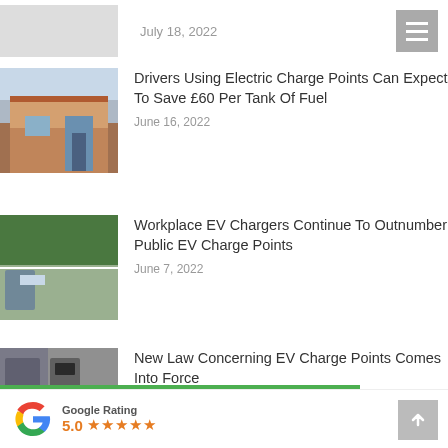July 18, 2022
Drivers Using Electric Charge Points Can Expect To Save £60 Per Tank Of Fuel
June 16, 2022
Workplace EV Chargers Continue To Outnumber Public EV Charge Points
June 7, 2022
New Law Concerning EV Charge Points Comes Into Force
May 28, 2022
Google Rating 5.0